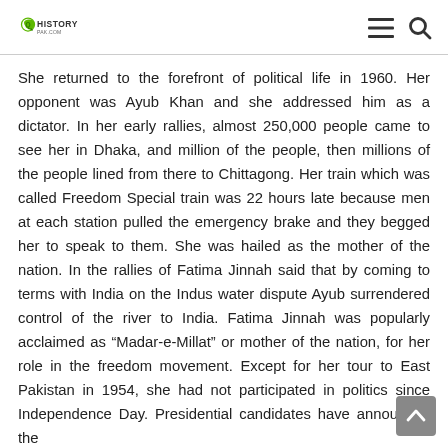HistoryPak.com
She returned to the forefront of political life in 1960. Her opponent was Ayub Khan and she addressed him as a dictator. In her early rallies, almost 250,000 people came to see her in Dhaka, and million of the people, then millions of the people lined from there to Chittagong. Her train which was called Freedom Special train was 22 hours late because men at each station pulled the emergency brake and they begged her to speak to them. She was hailed as the mother of the nation. In the rallies of Fatima Jinnah said that by coming to terms with India on the Indus water dispute Ayub surrendered control of the river to India. Fatima Jinnah was popularly acclaimed as “Madar-e-Millat” or mother of the nation, for her role in the freedom movement. Except for her tour to East Pakistan in 1954, she had not participated in politics since Independence Day. Presidential candidates have announced the